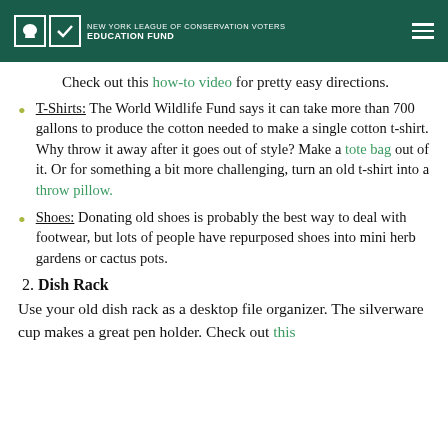NEW YORK LEAGUE OF CONSERVATION VOTERS EDUCATION FUND
Check out this how-to video for pretty easy directions.
T-Shirts: The World Wildlife Fund says it can take more than 700 gallons to produce the cotton needed to make a single cotton t-shirt. Why throw it away after it goes out of style? Make a tote bag out of it. Or for something a bit more challenging, turn an old t-shirt into a throw pillow.
Shoes: Donating old shoes is probably the best way to deal with footwear, but lots of people have repurposed shoes into mini herb gardens or cactus pots.
2. Dish Rack
Use your old dish rack as a desktop file organizer. The silverware cup makes a great pen holder. Check out this